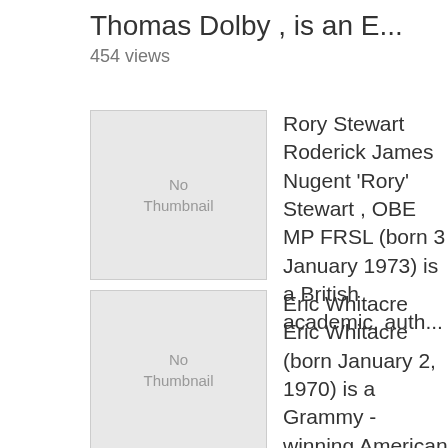Thomas Dolby , is an E...
454 views
[Figure (other): No Thumbnail placeholder image for Rory Stewart]
Rory Stewart Roderick James Nugent 'Rory' Stewart , OBE MP FRSL (born 3 January 1973) is a British academic, auth...
443 views
[Figure (other): No Thumbnail placeholder image for Eric Whitacre]
Eric Whitacre Eric Whitacre (born January 2, 1970) is a Grammy - winning American composer, conductor, and speaker...
441 views
[Figure (other): No Thumbnail placeholder image for Rick Warren]
Rick Warren Richard Duane " Rick " Warren (born January 28, 1954) is an American evangelical Christian...